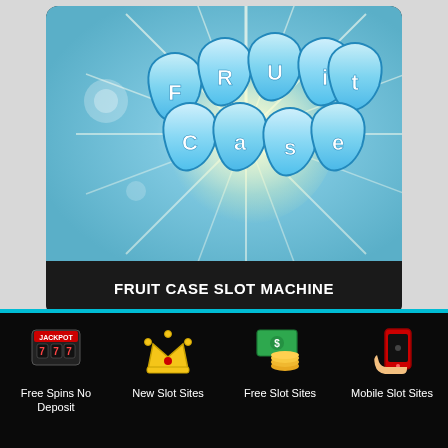[Figure (screenshot): Fruit Case slot machine game logo on sky blue background with sunburst rays, bubble-style text reading Fruit Case]
FRUIT CASE SLOT MACHINE
[Figure (screenshot): Partial view of a second slot machine card with orange/green gradient sunburst background]
[Figure (infographic): Bottom navigation bar with four items: Free Spins No Deposit (jackpot slot machine icon), New Slot Sites (crown icon), Free Slot Sites (money/coins icon), Mobile Slot Sites (phone icon)]